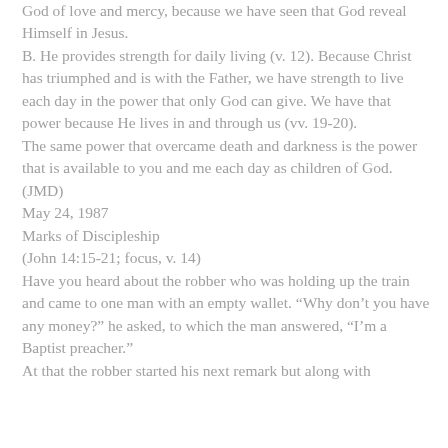God of love and mercy, because we have seen that God reveal Himself in Jesus.
B. He provides strength for daily living (v. 12). Because Christ has triumphed and is with the Father, we have strength to live each day in the power that only God can give. We have that power because He lives in and through us (vv. 19-20).
The same power that overcame death and darkness is the power that is available to you and me each day as children of God. (JMD)
May 24, 1987
Marks of Discipleship
(John 14:15-21; focus, v. 14)
Have you heard about the robber who was holding up the train and came to one man with an empty wallet. "Why don’t you have any money?" he asked, to which the man answered, “I’m a Baptist preacher.”
At that the robber started his next remark but along with